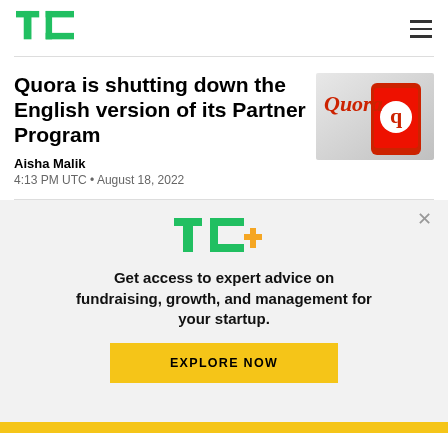TechCrunch
Quora is shutting down the English version of its Partner Program
Aisha Malik
4:13 PM UTC • August 18, 2022
[Figure (logo): Quora logo on a smartphone with red background]
Get access to expert advice on fundraising, growth, and management for your startup.
EXPLORE NOW